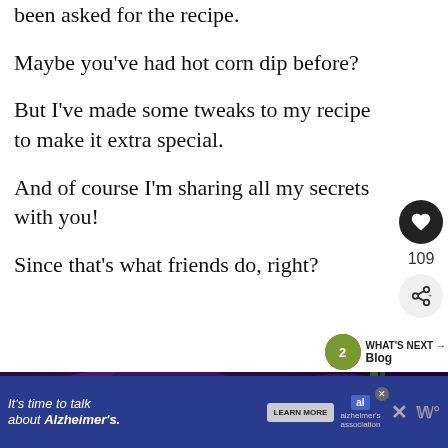been asked for the recipe.
Maybe you've had hot corn dip before?
But I've made some tweaks to my recipe to make it extra special.
And of course I'm sharing all my secrets with you!
Since that's what friends do, right?
[Figure (photo): Purple/blue corn tortilla chips with vegetables in background]
[Figure (infographic): Advertisement banner: It's time to talk about Alzheimer's. with Learn More button and Alzheimer's Association logo]